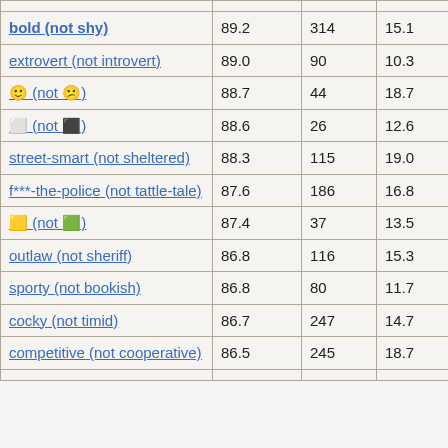|  |  |  |  |  |
| --- | --- | --- | --- | --- |
| bold (not shy) | 89.2 | 314 | 15.1 | 38 |
| extrovert (not introvert) | 89.0 | 90 | 10.3 | 35 |
| 🙂 (not 🙁) | 88.7 | 44 | 18.7 | 32 |
| 🟥 (not 🟦) | 88.6 | 26 | 12.6 | 28 |
| street-smart (not sheltered) | 88.3 | 115 | 19.0 | 27 |
| f***-the-police (not tattle-tale) | 87.6 | 186 | 16.8 | 27 |
| 🟨 (not 🟩) | 87.4 | 37 | 13.5 | 16 |
| outlaw (not sheriff) | 86.8 | 116 | 15.3 | 30 |
| sporty (not bookish) | 86.8 | 80 | 11.7 | 31 |
| cocky (not timid) | 86.7 | 247 | 14.7 | 49 |
| competitive (not cooperative) | 86.5 | 245 | 18.7 | 17 |